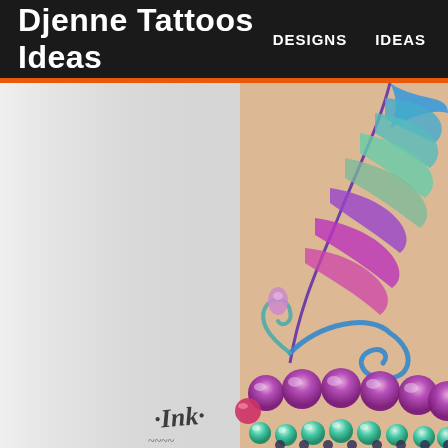Djenne Tattoos Ideas   DESIGNS   IDEAS
[Figure (photo): Close-up photo of a colorful tattoo on a person's arm/wrist, featuring a large peacock feather in blue, purple, and teal hues with swirling decorative lines, a strand of large purple pearl-like beads, smaller teal beads below, and a row of dark dots at the bottom. The left half of the image shows a plain light gray/white background. A stylized 'Ink' signature logo appears at the bottom center-left area.]